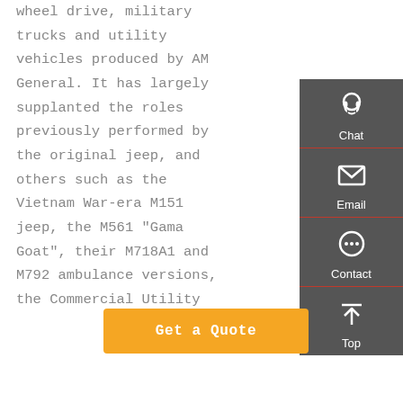wheel drive, military trucks and utility vehicles produced by AM General. It has largely supplanted the roles previously performed by the original jeep, and others such as the Vietnam War-era M151 jeep, the M561 "Gama Goat", their M718A1 and M792 ambulance versions, the Commercial Utility
[Figure (other): Sidebar widget with Chat, Email, Contact, and Top navigation icons on a dark gray background]
Get a Quote